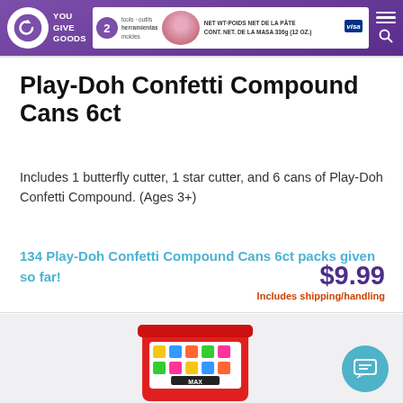YouGiveGoods
Play-Doh Confetti Compound Cans 6ct
Includes 1 butterfly cutter, 1 star cutter, and 6 cans of Play-Doh Confetti Compound. (Ages 3+)
134 Play-Doh Confetti Compound Cans 6ct packs given so far!
$9.99
Includes shipping/handling
[Figure (photo): Red plastic bucket/container labeled MAX with colorful toy blocks visible]